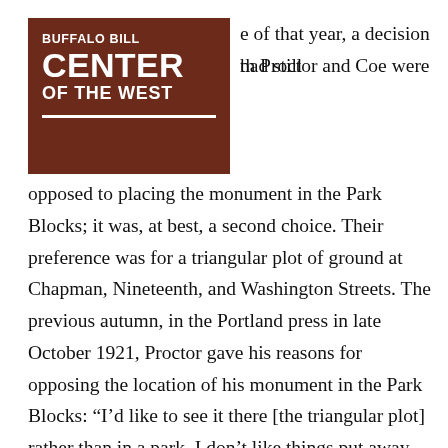[Figure (logo): Buffalo Bill Center of the West logo — brown rectangular box with white text reading 'BUFFALO BILL CENTER OF THE WEST' with a white underline bar]
e of that year, a decision had still
th Proctor and Coe were opposed to placing the monument in the Park Blocks; it was, at best, a second choice. Their preference was for a triangular plot of ground at Chapman, Nineteenth, and Washington Streets. The previous autumn, in the Portland press in late October 1921, Proctor gave his reasons for opposing the location of his monument in the Park Blocks: “I’d like to see it there [the triangular plot] rather than in a park. I don’t like things put away where people have to make a trip to see them.” Proctor wanted the greatest number of